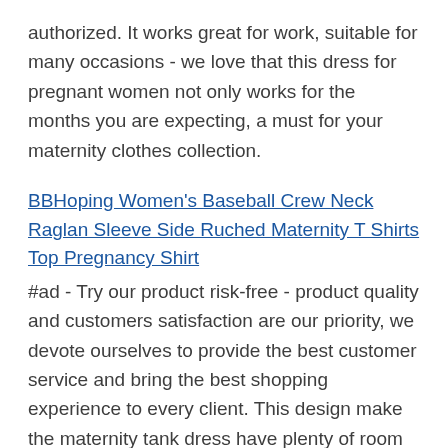authorized. It works great for work, suitable for many occasions - we love that this dress for pregnant women not only works for the months you are expecting, a must for your maternity clothes collection.
BBHoping Women's Baseball Crew Neck Raglan Sleeve Side Ruched Maternity T Shirts Top Pregnancy Shirt
#ad - Try our product risk-free - product quality and customers satisfaction are our priority, we devote ourselves to provide the best customer service and bring the best shopping experience to every client. This design make the maternity tank dress have plenty of room to grow. The slim design allows you to wear it after giving birth.